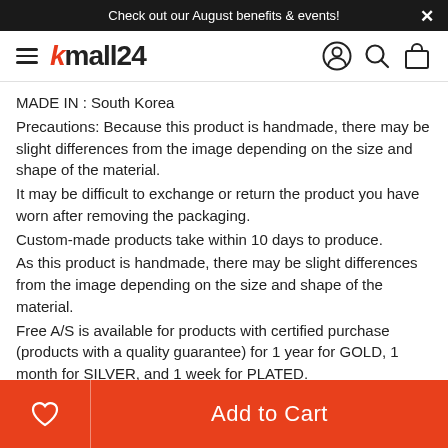Check out our August benefits & events!
[Figure (logo): kmall24 logo with hamburger menu and navigation icons (user, search, cart)]
MADE IN : South Korea
Precautions: Because this product is handmade, there may be slight differences from the image depending on the size and shape of the material.
It may be difficult to exchange or return the product you have worn after removing the packaging.
Custom-made products take within 10 days to produce.
As this product is handmade, there may be slight differences from the image depending on the size and shape of the material.
Free A/S is available for products with certified purchase (products with a quality guarantee) for 1 year for GOLD, 1 month for SILVER, and 1 week for PLATED.
In case of damage to packaging, omission of free gifts, or
Add to Cart